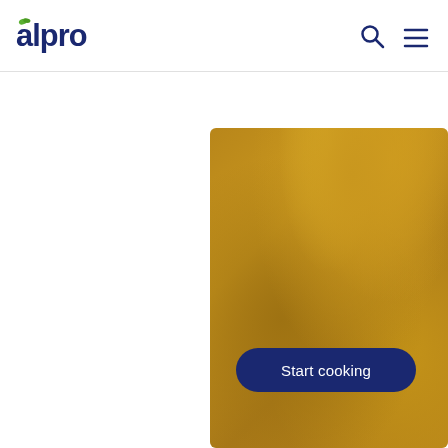alpro
[Figure (photo): Golden/amber painted or textured surface, cropped rectangular shape with rounded top-left corner, occupying the right half of the page below the header. The surface has a warm golden-yellow color with paint brush texture and slight variations in tone.]
Start cooking